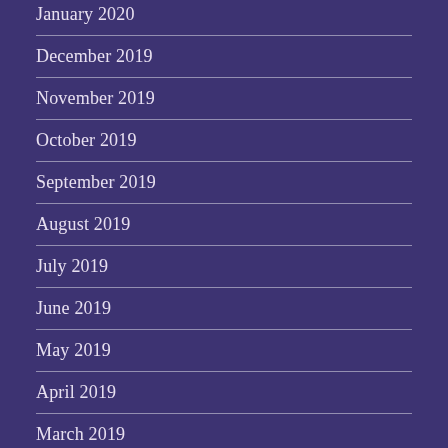January 2020
December 2019
November 2019
October 2019
September 2019
August 2019
July 2019
June 2019
May 2019
April 2019
March 2019
February 2019